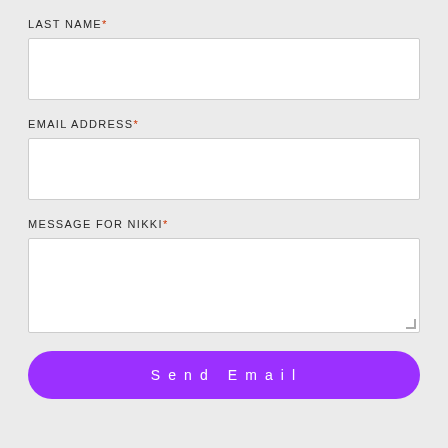LAST NAME*
[Figure (other): Empty text input box for Last Name field]
EMAIL ADDRESS*
[Figure (other): Empty text input box for Email Address field]
MESSAGE FOR NIKKI*
[Figure (other): Empty textarea input box for Message for Nikki field]
Send Email